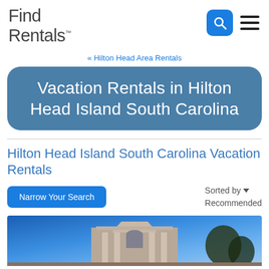Find Rentals
« Hilton Head Area Rentals
Vacation Rentals in Hilton Head Island South Carolina
Hilton Head Island South Carolina Vacation Rentals
Narrow Your Search
Sorted by Recommended
[Figure (photo): Exterior photo of a building with columns against a blue sky]